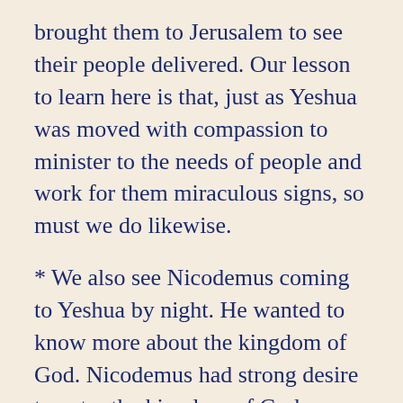brought them to Jerusalem to see their people delivered. Our lesson to learn here is that, just as Yeshua was moved with compassion to minister to the needs of people and work for them miraculous signs, so must we do likewise.
* We also see Nicodemus coming to Yeshua by night. He wanted to know more about the kingdom of God. Nicodemus had strong desire to enter the kingdom of God. Yeshua showed him that everything he had so confidently relied on to enter into God’s kingdom was considered inadequate. He questioned how Nicodemus could not understand this after all his years of studying and teaching the scriptures, even rising to the position of one